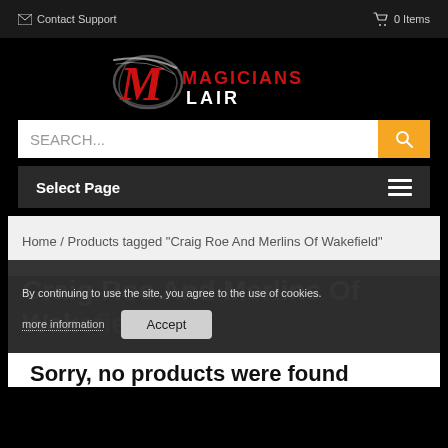Contact Support   0 Items
[Figure (logo): Magicians Lair logo with stylized M in red and grey, text MAGICIANS LAIR]
SEARCH...
Select Page
Home / Products tagged “Craig Roe And Merlins Of Wakefield”
Craig Roe And Merlins Of Wakefield
By continuing to use the site, you agree to the use of cookies.
more information
Accept
Sorry, no products were found